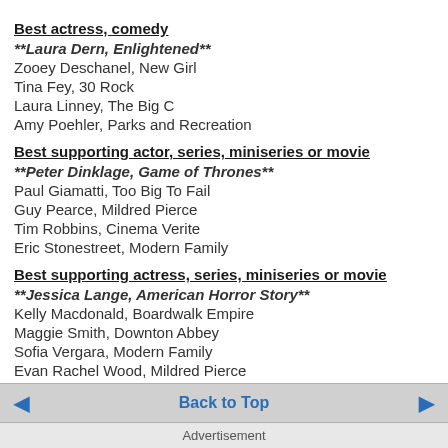Best actress, comedy
**Laura Dern, Enlightened**
Zooey Deschanel, New Girl
Tina Fey, 30 Rock
Laura Linney, The Big C
Amy Poehler, Parks and Recreation
Best supporting actor, series, miniseries or movie
**Peter Dinklage, Game of Thrones**
Paul Giamatti, Too Big To Fail
Guy Pearce, Mildred Pierce
Tim Robbins, Cinema Verite
Eric Stonestreet, Modern Family
Best supporting actress, series, miniseries or movie
**Jessica Lange, American Horror Story**
Kelly Macdonald, Boardwalk Empire
Maggie Smith, Downton Abbey
Sofia Vergara, Modern Family
Evan Rachel Wood, Mildred Pierce
Back to Top
Advertisement